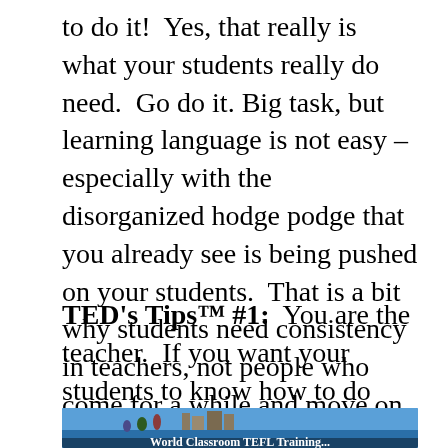to do it!  Yes, that really is what your students really do need.  Go do it. Big task, but learning language is not easy – especially with the disorganized hodge podge that you already see is being pushed on your students.  That is a bit why students need consistency in teachers, not people who come for a while and move on, but ideally people who hang around for a few years and organize things well for them.
TED's Tips™ #1:  You are the teacher.  If you want your students to know how to do something, teach them how to do it.  It really is that simple.
[Figure (photo): Partial image of what appears to be a World Classroom TEFLTraining related photo with blue sky and building/figures visible]